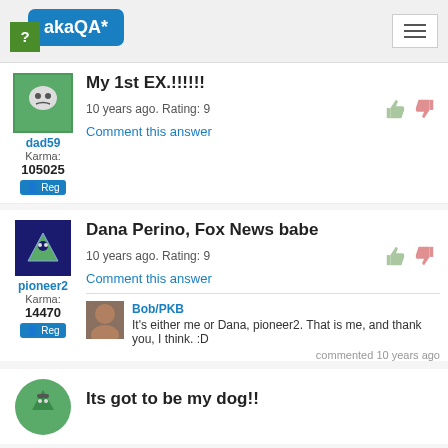akaQA*
My 1st EX.!!!!!!
10 years ago. Rating: 9
Comment this answer
dad59
Karma: 105025
Reg
Dana Perino, Fox News babe
10 years ago. Rating: 9
Comment this answer
pioneer2
Karma: 14470
Reg
Bob/PKB
It's either me or Dana, pioneer2. That is me, and thank you, I think. :D
commented 10 years ago
Its got to be my dog!!